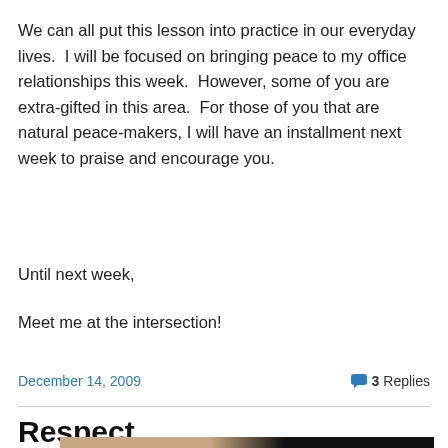We can all put this lesson into practice in our everyday lives.  I will be focused on bringing peace to my office relationships this week.  However, some of you are extra-gifted in this area.  For those of you that are natural peace-makers, I will have an installment next week to praise and encourage you.
Until next week,
Meet me at the intersection!
December 14, 2009   3 Replies
Respect
[Figure (photo): Partial photograph visible at bottom of page, showing a face or figure with dark background on the right side.]